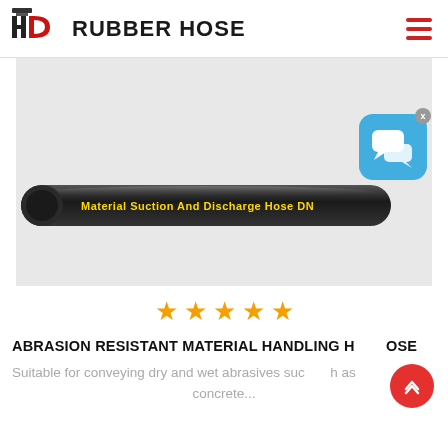HD RUBBER HOSE
[Figure (photo): Black rubber hose with yellow text reading 'Material Suction And Discharge Hose DN' on a light gray background, with a blue chat widget overlay in the top-right corner]
★★★★★
ABRASION RESISTANT MATERIAL HANDLING HOSE
Suitable for conveying dry and wet abrasives such as concrete...